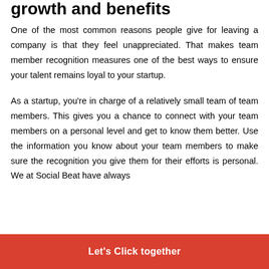growth and benefits
One of the most common reasons people give for leaving a company is that they feel unappreciated. That makes team member recognition measures one of the best ways to ensure your talent remains loyal to your startup.
As a startup, you're in charge of a relatively small team of team members. This gives you a chance to connect with your team members on a personal level and get to know them better. Use the information you know about your team members to make sure the recognition you give them for their efforts is personal. We at Social Beat have always
Let's Click together